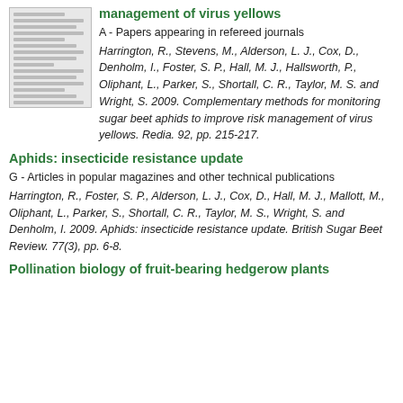management of virus yellows
[Figure (other): Thumbnail image of a document/paper page]
A - Papers appearing in refereed journals
Harrington, R., Stevens, M., Alderson, L. J., Cox, D., Denholm, I., Foster, S. P., Hall, M. J., Hallsworth, P., Oliphant, L., Parker, S., Shortall, C. R., Taylor, M. S. and Wright, S. 2009. Complementary methods for monitoring sugar beet aphids to improve risk management of virus yellows. Redia. 92, pp. 215-217.
Aphids: insecticide resistance update
G - Articles in popular magazines and other technical publications
Harrington, R., Foster, S. P., Alderson, L. J., Cox, D., Hall, M. J., Mallott, M., Oliphant, L., Parker, S., Shortall, C. R., Taylor, M. S., Wright, S. and Denholm, I. 2009. Aphids: insecticide resistance update. British Sugar Beet Review. 77(3), pp. 6-8.
Pollination biology of fruit-bearing hedgerow plants